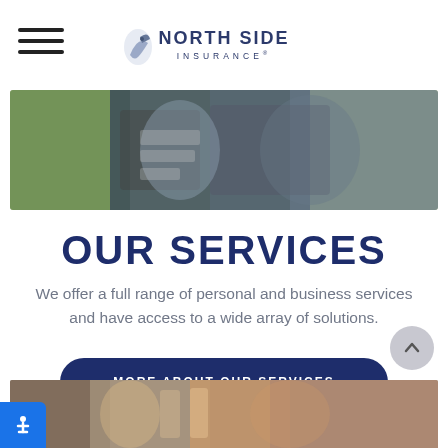North Side Insurance
[Figure (photo): Two people sitting together, one wearing a striped shirt, blurred outdoor background]
OUR SERVICES
We offer a full range of personal and business services and have access to a wide array of solutions.
MORE ABOUT OUR SERVICES
[Figure (photo): People in a store or display area, blurred background]